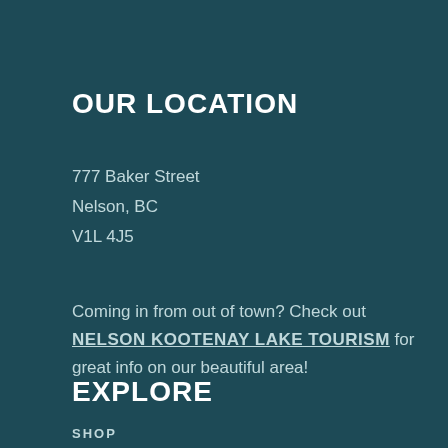OUR LOCATION
777 Baker Street
Nelson, BC
V1L 4J5
Coming in from out of town? Check out NELSON KOOTENAY LAKE TOURISM for great info on our beautiful area!
EXPLORE
SHOP